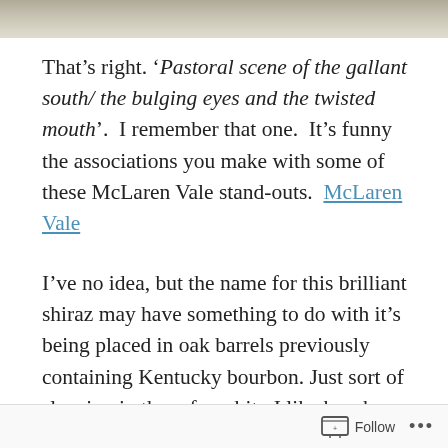[Figure (photo): Partial photograph visible at the top of the page, showing a textured outdoor scene.]
That’s right. ‘Pastoral scene of the gallant south/ the bulging eyes and the twisted mouth’.  I remember that one.  It’s funny the associations you make with some of these McLaren Vale stand-outs.  McLaren Vale
I’ve no idea, but the name for this brilliant shiraz may have something to do with it’s being placed in oak barrels previously containing Kentucky bourbon. Just sort of sleeping in there for a bit.  I like bourbon.  So it nailed it with me.
Follow ...